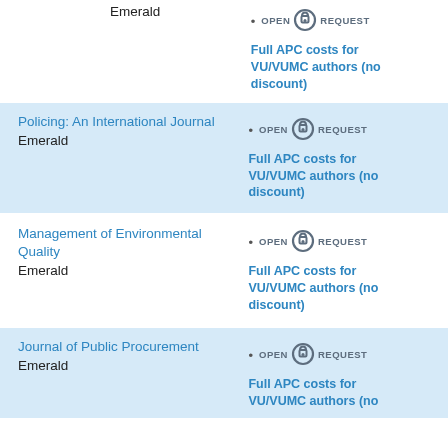Emerald
Full APC costs for VU/VUMC authors (no discount)
Policing: An International Journal
Emerald
Full APC costs for VU/VUMC authors (no discount)
Management of Environmental Quality
Emerald
Full APC costs for VU/VUMC authors (no discount)
Journal of Public Procurement
Emerald
Full APC costs for VU/VUMC authors (no discount)